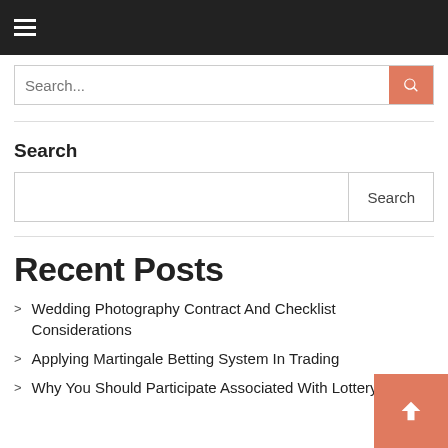Navigation menu bar with hamburger icon
Search...
Search
Recent Posts
Wedding Photography Contract And Checklist Considerations
Applying Martingale Betting System In Trading
Why You Should Participate Associated With Lottery